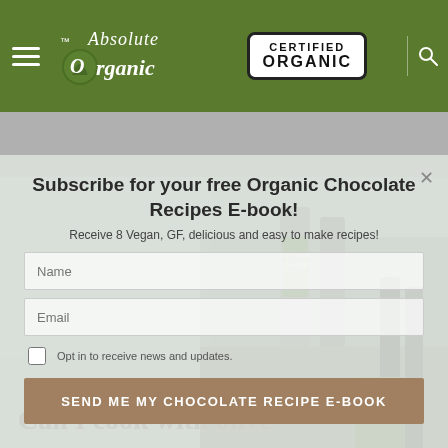[Figure (logo): Absolute Organic logo with white italic text and leaf graphic on green background, alongside Certified Organic badge in black and white]
Subscribe for your free Organic Chocolate Recipes E-book!
Receive 8 Vegan, GF, delicious and easy to make recipes!
Name (input field)
Email (input field)
Opt in to receive news and updates.
SEND ME MY CHOCOLATE RECIPE E-BOOK
Can I cook with olive